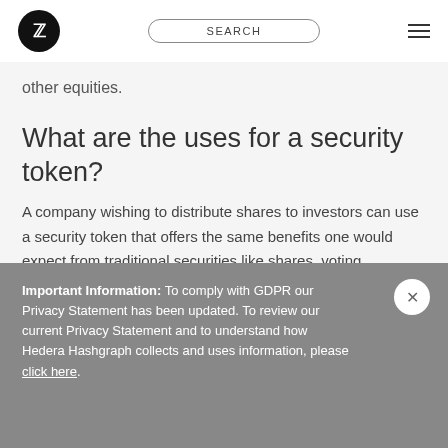SEARCH
other equities.
What are the uses for a security token?
A company wishing to distribute shares to investors can use a security token that offers the same benefits one would expect from traditional securities like shares, voting
Important Information: To comply with GDPR our Privacy Statement has been updated. To review our current Privacy Statement and to understand how Hedera Hashgraph collects and uses information, please click here.